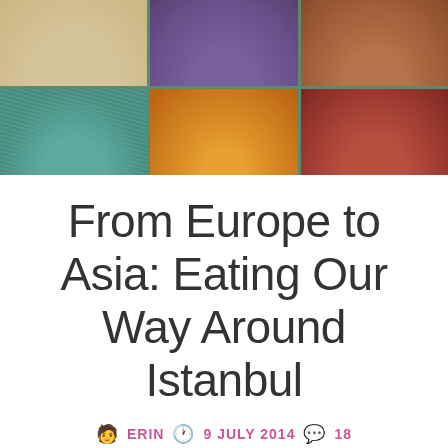[Figure (photo): Overhead photo of colorful spices in market display trays: tan/beige, purple, reddish-brown in top row; teal/blue strands, bright orange, dark crimson in bottom row]
From Europe to Asia: Eating Our Way Around Istanbul
🧑 ERIN 🕐 9 JULY 2014 💬 18
This page contains affiliate links. Please read our disclosure for more info.